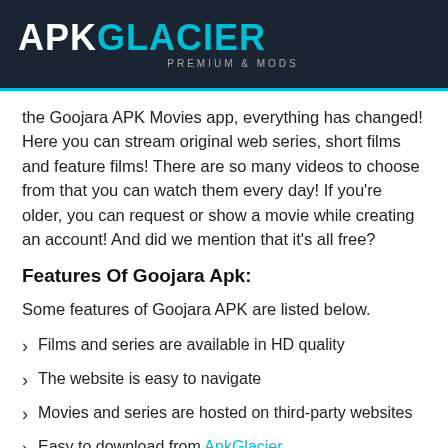APKGLACIER PREMIUM & MODS
the Goojara APK Movies app, everything has changed! Here you can stream original web series, short films and feature films! There are so many videos to choose from that you can watch them every day! If you're older, you can request or show a movie while creating an account! And did we mention that it's all free?
Features Of Goojara Apk:
Some features of Goojara APK are listed below.
Films and series are available in HD quality
The website is easy to navigate
Movies and series are hosted on third-party websites
Easy to download from ApkGlacier
The website offers a variety of movies and shows.